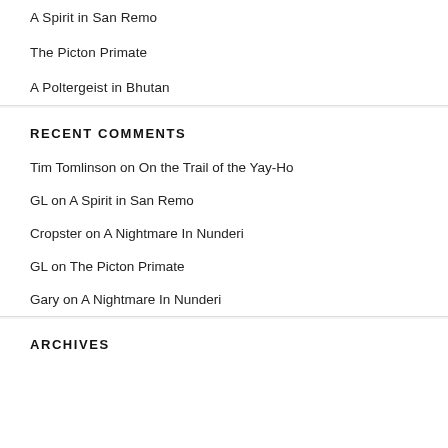A Spirit in San Remo
The Picton Primate
A Poltergeist in Bhutan
RECENT COMMENTS
Tim Tomlinson on On the Trail of the Yay-Ho
GL on A Spirit in San Remo
Cropster on A Nightmare In Nunderi
GL on The Picton Primate
Gary on A Nightmare In Nunderi
ARCHIVES